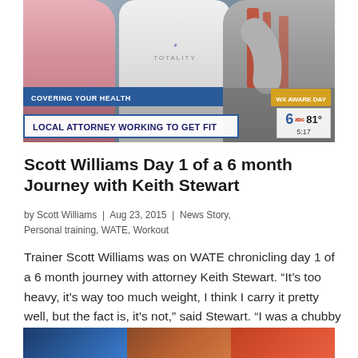[Figure (screenshot): TV news screenshot showing a gym scene with trainer Scott Williams in a white Totality shirt and attorney Keith Stewart with arms crossed in grey shirt. Lower thirds show 'COVERING YOUR HEALTH' banner, headline 'LOCAL ATTORNEY WORKING TO GET FIT', channel 6 ABC bug showing 81 degrees and time 5:17, and 'WX AWARE DAY' badge.]
Scott Williams Day 1 of a 6 month Journey with Keith Stewart
by Scott Williams  |  Aug 23, 2015  |  News Story, Personal training, WATE, Workout
Trainer Scott Williams was on WATE chronicling day 1 of a 6 month journey with attorney Keith Stewart. “It’s too heavy, it’s way too much weight, I think I carry it pretty well, but the fact is, it’s not,” said Stewart. “I was a chubby kid, I had a growth spurt in…
[Figure (screenshot): Partial TV screenshot visible at the bottom of the page, showing a colorful image partially cut off.]